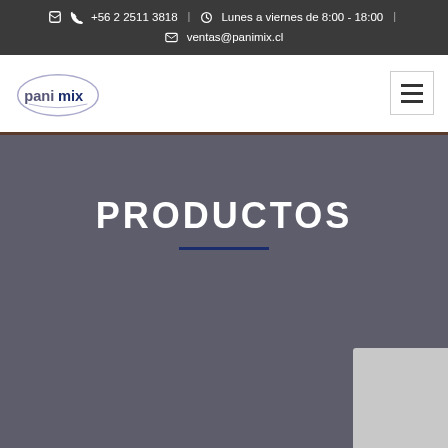+56 2 2511 3818  |  Lunes a viernes de 8:00 - 18:00  |  ventas@panimix.cl
[Figure (logo): Panimix company logo — oval outline with 'panimix' text inside]
PRODUCTOS